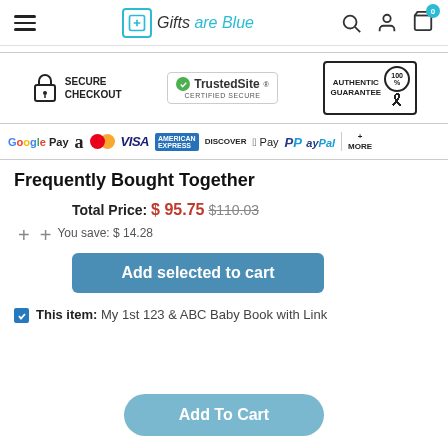Gifts are Blue — navigation header with hamburger menu, logo, search, account, and cart icons
[Figure (infographic): Trust badges row: Secure Checkout lock icon, TrustedSite Certified Secure badge, Authentic Guarantee 100% medal badge]
[Figure (infographic): Payment methods row: G Pay, Amazon, Mastercard, VISA, American Express, Discover, Apple Pay, PayPal, + MORE]
Frequently Bought Together
Total Price: $95.75 $110.03
You save: $14.28
Add selected to cart
This item: My 1st 123 & ABC Baby Book with Link